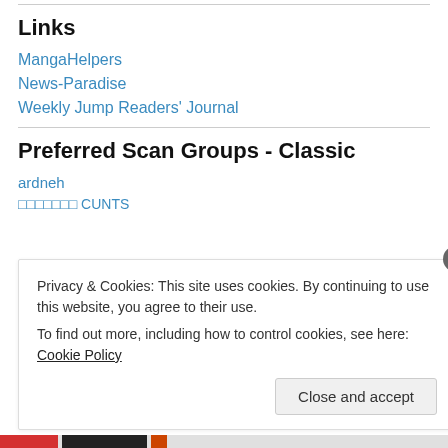Links
MangaHelpers
News-Paradise
Weekly Jump Readers' Journal
Preferred Scan Groups - Classic
ardneh
□□□□□□□ CUNTS
Privacy & Cookies: This site uses cookies. By continuing to use this website, you agree to their use.
To find out more, including how to control cookies, see here: Cookie Policy